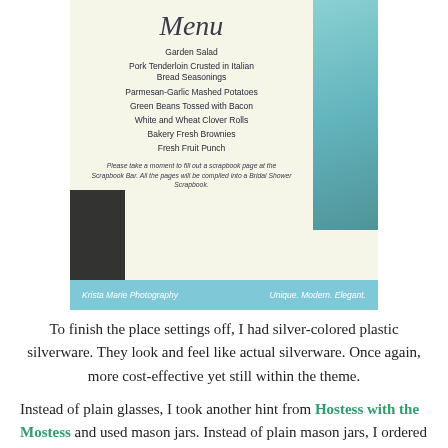[Figure (photo): A photo of a printed menu card on cream paper with script title 'Menu' and list of food items, overlaid with a teal/turquoise decorative background on the right, a dark shadow on the lower left, and a blue watermark strip at the bottom reading 'Krista Marie Photography  Unique. Modern. Elegant.']
To finish the place settings off, I had silver-colored plastic silverware. They look and feel like actual silverware. Once again, more cost-effective yet still within the theme.
Instead of plain glasses, I took another hint from Hostess with the Mostess and used mason jars. Instead of plain mason jars, I ordered lids with this daisy cut pattern. I then slipped straws